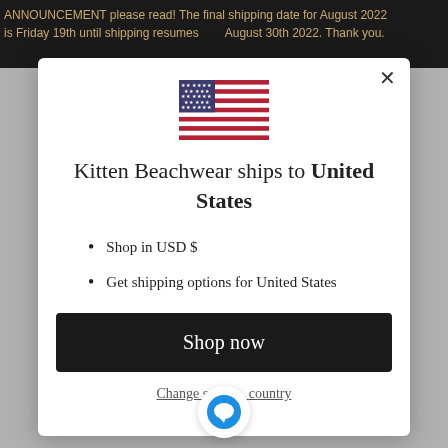ANNOUNCEMENT please read! The final shipping date for August 2022 is Friday 19th until shipping resumes August 30th 2022. Thank you.
[Figure (illustration): US flag emoji/icon, centered in modal dialog]
Kitten Beachwear ships to United States
Shop in USD $
Get shipping options for United States
Shop now
Change store or country